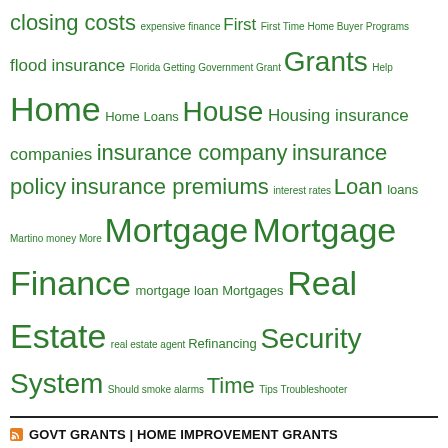closing costs expensive finance First First Time Home Buyer Programs flood insurance Florida Getting Government Grant Grants Help Home Home Loans House Housing insurance companies insurance company insurance policy insurance premiums interest rates Loan loans Martino money More Mortgage Mortgage Finance mortgage loan Mortgages Real Estate real estate agent Refinancing Security System Should smoke alarms Time Tips Troubleshooter
GOVT GRANTS | HOME IMPROVEMENT GRANTS
2022 Family Self-Sufficiency NOFO
Notice of Funding Opportunity (NOFO) for Fiscal Year (FY) 2022 Continuum of Care Competition and Noncompetitive Award of Youth Homeless Demonstration Program Renewal and Replacement Grants
Community Development Block Grant Program for Indian Tribes and Alaska Native Villages